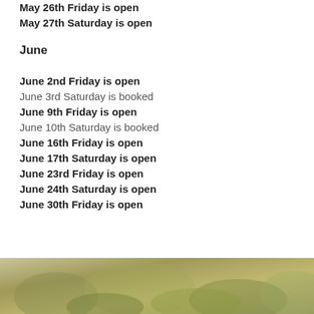May 26th Friday is open
May 27th Saturday is open
June
June 2nd Friday is open
June 3rd Saturday is booked
June 9th Friday is open
June 10th Saturday is booked
June 16th Friday is open
June 17th Saturday is open
June 23rd Friday is open
June 24th Saturday is open
June 30th Friday is open
[Figure (photo): Outdoor nature/garden photo strip at the bottom of the page]